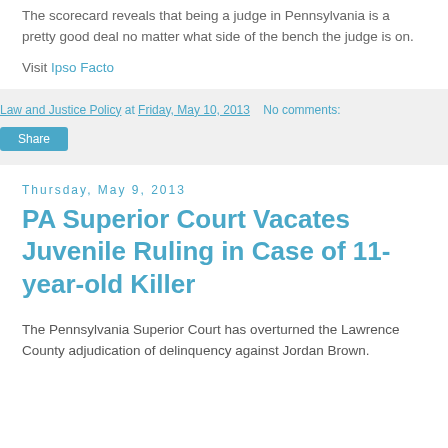The scorecard reveals that being a judge in Pennsylvania is a pretty good deal no matter what side of the bench the judge is on.
Visit Ipso Facto
Law and Justice Policy at Friday, May 10, 2013   No comments:
Share
Thursday, May 9, 2013
PA Superior Court Vacates Juvenile Ruling in Case of 11-year-old Killer
The Pennsylvania Superior Court has overturned the Lawrence County adjudication of delinquency against Jordan Brown.